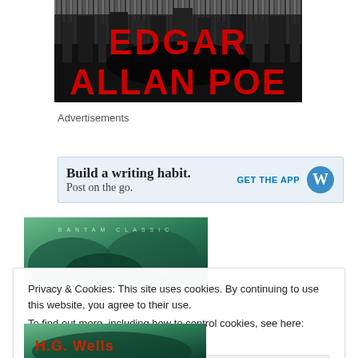[Figure (illustration): Book cover for Edgar Allan Poe — black and white city skyline background with large red bold text reading EDGAR ALLAN POE]
Advertisements
[Figure (screenshot): Advertisement banner: 'Build a writing habit. Post on the go.' with GET THE APP button and WordPress logo]
[Figure (illustration): Bantam Classic book cover — green toned cover with BANTAM CLASSIC text at top]
Privacy & Cookies: This site uses cookies. By continuing to use this website, you agree to their use.
To find out more, including how to control cookies, see here: Cookie Policy
[Figure (illustration): H.G. Wells book cover — green toned with H.G. Wells text in red at bottom, partially visible]